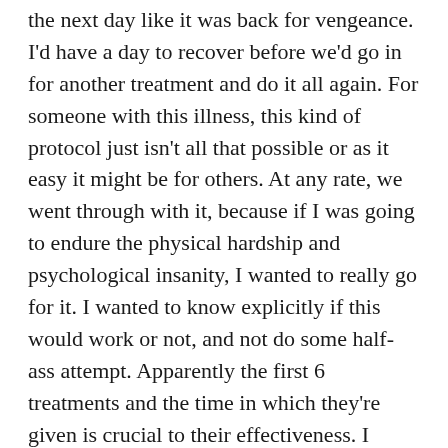the next day like it was back for vengeance. I'd have a day to recover before we'd go in for another treatment and do it all again. For someone with this illness, this kind of protocol just isn't all that possible or as it easy it might be for others. At any rate, we went through with it, because if I was going to endure the physical hardship and psychological insanity, I wanted to really go for it. I wanted to know explicitly if this would work or not, and not do some half-ass attempt. Apparently the first 6 treatments and the time in which they're given is crucial to their effectiveness. I would try anything that might help the pain, get me off meds.
It was an intense two weeks, and I'll go into much further detail on another post because there is a LOT about that course of treatment, physically and